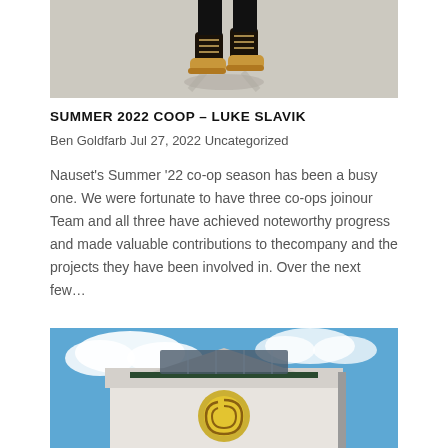[Figure (photo): Cropped photo showing a person's boots/feet standing on a light concrete or pavement surface, with a shadow visible below.]
SUMMER 2022 COOP – LUKE SLAVIK
Ben Goldfarb Jul 27, 2022 Uncategorized
Nauset's Summer '22 co-op season has been a busy one. We were fortunate to have three co-ops joinour Team and all three have achieved noteworthy progress and made valuable contributions to thecompany and the projects they have been involved in. Over the next few…
[Figure (photo): Photo of a building exterior with a blue sky and clouds behind it. The building has a decorative rooftop element with what appears to be a logo or emblem.]